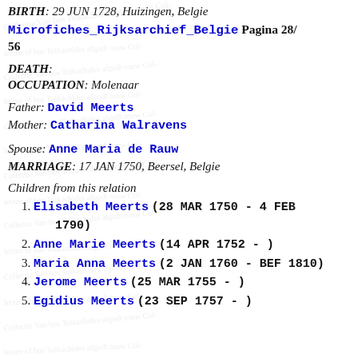BIRTH: 29 JUN 1728, Huizingen, Belgie
Microfiches_Rijksarchief_Belgie Pagina 28/56
DEATH:
OCCUPATION: Molenaar
Father: David Meerts
Mother: Catharina Walravens
Spouse: Anne Maria de Rauw
MARRIAGE: 17 JAN 1750, Beersel, Belgie
Children from this relation
Elisabeth Meerts (28 MAR 1750 - 4 FEB 1790)
Anne Marie Meerts (14 APR 1752 - )
Maria Anna Meerts (2 JAN 1760 - BEF 1810)
Jerome Meerts (25 MAR 1755 - )
Egidius Meerts (23 SEP 1757 - )